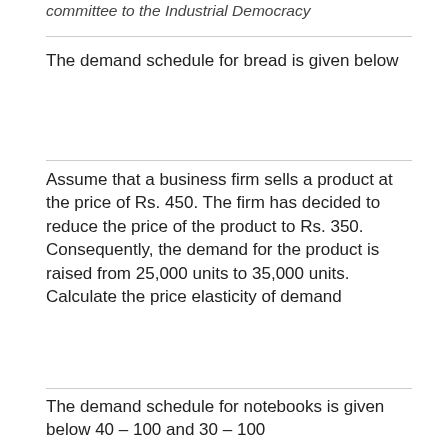committee to the Industrial Democracy
The demand schedule for bread is given below
Assume that a business firm sells a product at the price of Rs. 450. The firm has decided to reduce the price of the product to Rs. 350. Consequently, the demand for the product is raised from 25,000 units to 35,000 units. Calculate the price elasticity of demand
The demand schedule for notebooks is given below 40 – 100 and 30 – 100